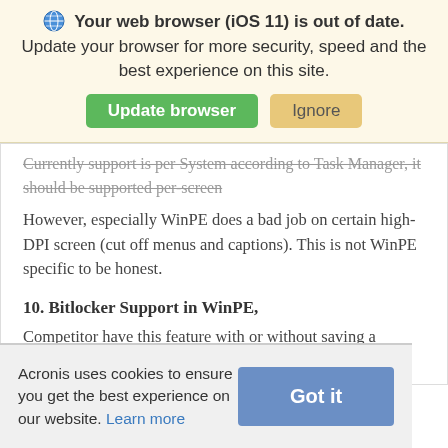[Figure (screenshot): Browser update banner with globe icon, bold warning text 'Your web browser (iOS 11) is out of date.', followed by normal text 'Update your browser for more security, speed and the best experience on this site.', with green 'Update browser' button and tan 'Ignore' button.]
Currently support is per System according to Task Manager, it should be supported per-screen
However, especially WinPE does a bad job on certain high-DPI screen (cut off menus and captions). This is not WinPE specific to be honest.
10. Bitlocker Support in WinPE,
Competitor have this feature with or without saving a recovery key into the backup (this is unsafe imho).
Acronis uses cookies to ensure you get the best experience on our website. Learn more